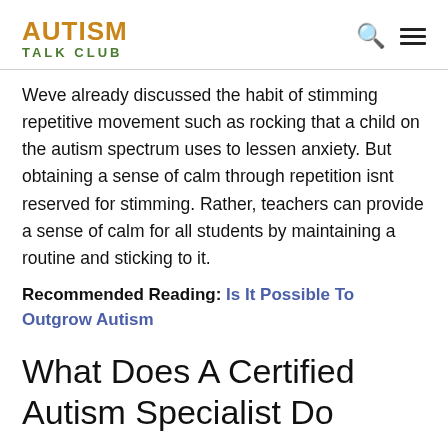AUTISM TALK CLUB
Weve already discussed the habit of stimming repetitive movement such as rocking that a child on the autism spectrum uses to lessen anxiety. But obtaining a sense of calm through repetition isnt reserved for stimming. Rather, teachers can provide a sense of calm for all students by maintaining a routine and sticking to it.
Recommended Reading: Is It Possible To Outgrow Autism
What Does A Certified Autism Specialist Do
An autism specialist is someone who works with children